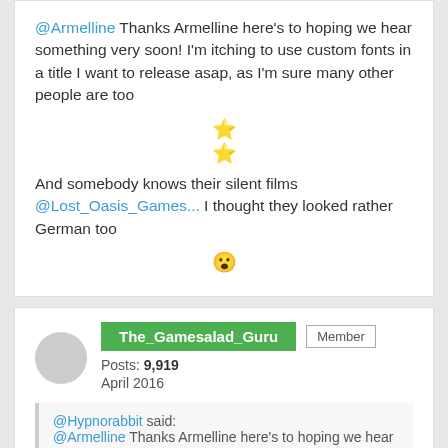@Armelline Thanks Armelline here's to hoping we hear something very soon! I'm itching to use custom fonts in a title I want to release asap, as I'm sure many other people are too
And somebody knows their silent films @Lost_Oasis_Games... I thought they looked rather German too
The_Gamesalad_Guru | Member | Posts: 9,919 | April 2016
@Hypnorabbit said: @Armelline Thanks Armelline here's to hoping we hear